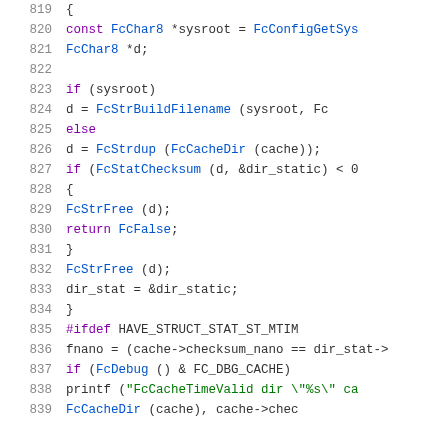[Figure (screenshot): Source code listing in C showing lines 819-839 of a font configuration library, with syntax highlighting. Keywords in purple, function names in blue, strings in green, plain code in dark gray. Line numbers shown in gray on the left.]